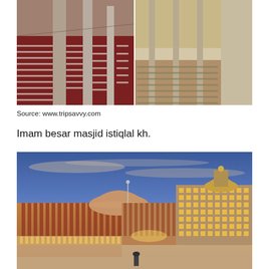[Figure (photo): Interior of Masjid Istiqlal mosque filled with rows of worshippers praying on a red carpet, with large pillars visible. Split view showing interior crowd on the left and a more intimate interior view on the right.]
Source: www.tripsavvy.com
Imam besar masjid istiqlal kh.
[Figure (photo): Exterior night/dusk photograph of Masjid Istiqlal in Jakarta, Indonesia. The mosque is illuminated with warm golden lights against a blue twilight sky. The large dome and minaret tower are visible, with decorative vertical columns along the facade.]